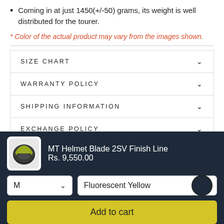Coming in at just 1450(+/-50) grams, its weight is well distributed for the tourer.
* Color of the actual product may vary from the images shown.
SIZE CHART
WARRANTY POLICY
SHIPPING INFORMATION
EXCHANGE POLICY
MT Helmet Blade 2SV Finish Line
Rs. 9,550.00
M
Fluorescent Yellow
Add to cart